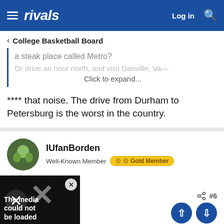rivals — Log in
< College Basketball Board
a steak place called Metro?
Or drive an hour north, and visit Danville, Va—
Click to expand...
**** that noise. The drive from Durham to Petersburg is the worst in the country.
IUfanBorden
Well-Known Member  Gold Member
[Figure (screenshot): Media block showing 'The media could not be loaded' error with X overlay and close button]
aid:  ↺